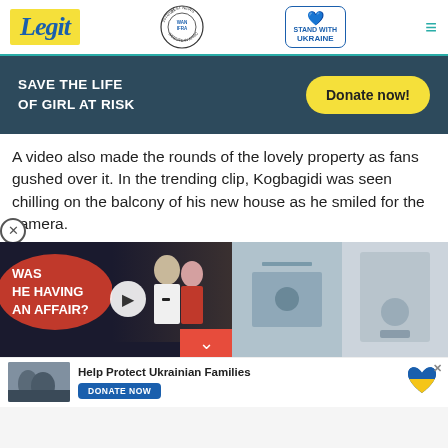Legit | WAN-IFRA 2021 Best News Website in Africa | Stand with Ukraine
[Figure (screenshot): Donation ad banner with dark blue background: 'SAVE THE LIFE OF GIRL AT RISK' with yellow Donate now! button]
A video also made the rounds of the lovely property as fans gushed over it. In the trending clip, Kogbagidi was seen chilling on the balcony of his new house as he smiled for the camera.
[Figure (screenshot): Video thumbnail showing man and woman in formal wear with red overlay text 'WAS HE HAVING AN AFFAIR?' and play button, alongside two other thumbnails]
[Figure (screenshot): Bottom bar: 'Help Protect Ukrainian Families' with DONATE NOW button and Ukraine heart logo, thumbnail of people]